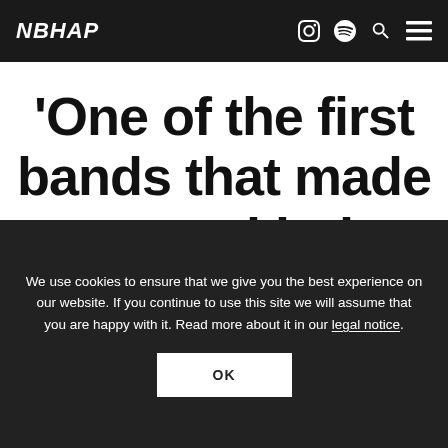NBHAP
'One of the first bands that made some kind
We use cookies to ensure that we give you the best experience on our website. If you continue to use this site we will assume that you are happy with it. Read more about it in our legal notice.
OK